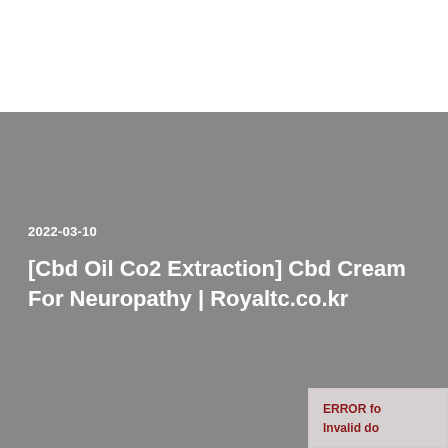2022-03-10
[Cbd Oil Co2 Extraction] Cbd Cream For Neuropathy | Royaltc.co.kr
ERROR fo
Invalid do